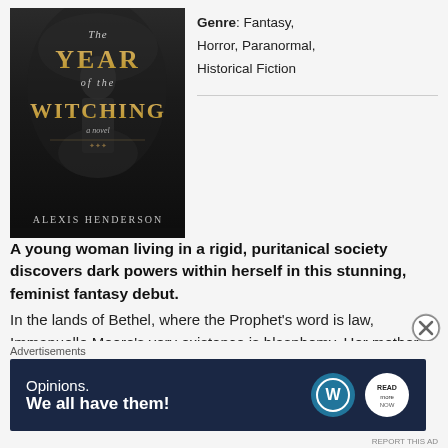[Figure (photo): Book cover of 'The Year of the Witching' by Alexis Henderson, dark fantasy cover with gothic imagery]
Genre: Fantasy, Horror, Paranormal, Historical Fiction
A young woman living in a rigid, puritanical society discovers dark powers within herself in this stunning, feminist fantasy debut. In the lands of Bethel, where the Prophet's word is law, Immanuelle Moore's very existence is blasphemy. Her mother's union with an outsider of a different race cast her once-proud family into disgrace. so
Advertisements
[Figure (screenshot): Advertisement banner: 'Opinions. We all have them!' with WordPress logo and another circular logo, dark blue background]